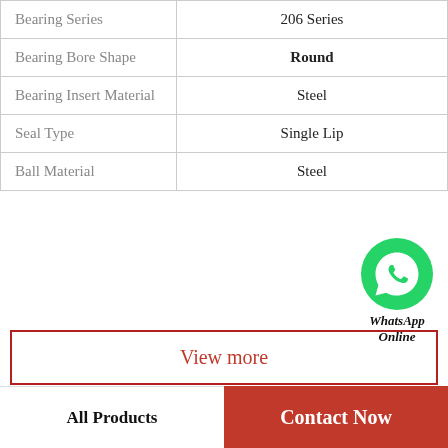| Property | Value |
| --- | --- |
| Bearing Series | 206 Series |
| Bearing Bore Shape | Round |
| Bearing Insert Material | Steel |
| Seal Type | Single Lip |
| Ball Material | Steel |
[Figure (logo): WhatsApp green circle icon with phone handset, with text 'WhatsApp Online' below]
View more
Company Profile
China Hainan Hydraulic Fixed Drive Motor Supplier...
All Products    Contact Now